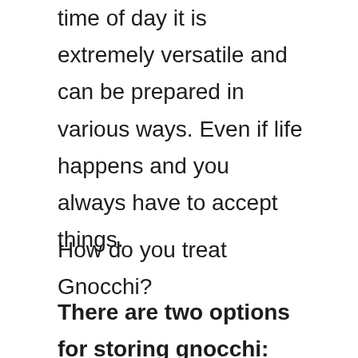time of day it is extremely versatile and can be prepared in various ways. Even if life happens and you always have to accept things.
How do you treat Gnocchi?
There are two options for storing gnocchi: